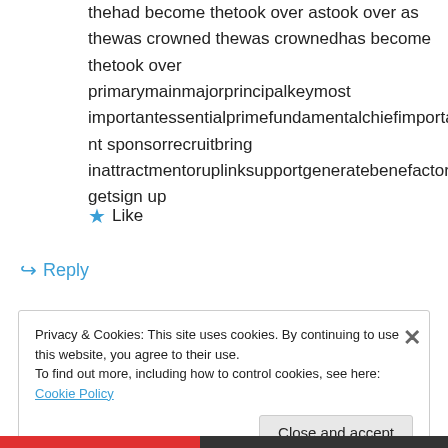thehad become thetook over astook over as thewas crowned thewas crownedhas become thetook over primarymainmajorprincipalkeymost importantessentialprimefundamentalchiefimportant sponsorrecruitbring inattractmentoruplinksupportgeneratebenefactor getsign up
★ Like
↪ Reply
Privacy & Cookies: This site uses cookies. By continuing to use this website, you agree to their use.
To find out more, including how to control cookies, see here: Cookie Policy
Close and accept